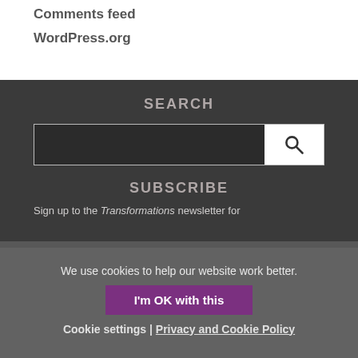Comments feed
WordPress.org
SEARCH
SUBSCRIBE
Sign up to the Transformations newsletter for
We use cookies to help our website work better.
I'm OK with this
Cookie settings | Privacy and Cookie Policy